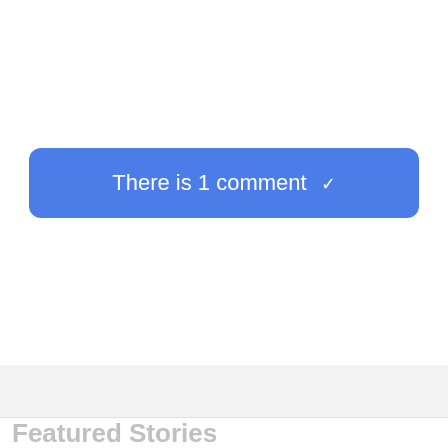[Figure (screenshot): A blue rounded rectangle button with white text reading 'There is 1 comment' followed by a downward chevron arrow icon]
Featured Stories